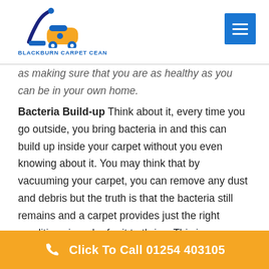[Figure (logo): Blackburn Carpet Clean logo with vacuum cleaner illustration in blue and yellow, with brand name BLACKBURN CARPET CEAN below]
as making sure that you are as healthy as you can be in your own home.
Bacteria Build-up Think about it, every time you go outside, you bring bacteria in and this can build up inside your carpet without you even knowing about it. You may think that by vacuuming your carpet, you can remove any dust and debris but the truth is that the bacteria still remains and a carpet provides just the right conditions in order for it to thrive. This is especially the case if you have a heater or an air conditioning unit because heat can make
Click To Call 01254 403105